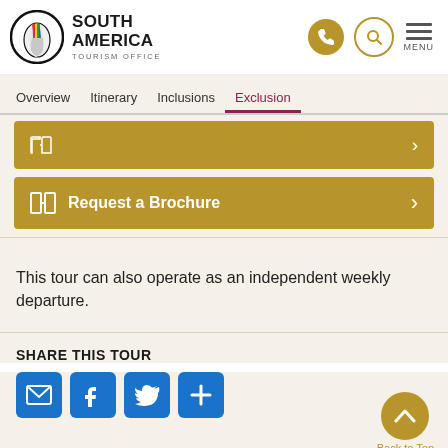[Figure (logo): South America Tourism Office logo with colorful map of South America in a circle]
SOUTH AMERICA TOURISM OFFICE
Overview  Itinerary  Inclusions  Exclusions
[Figure (screenshot): Gold button: Request a Brochure with book icon and chevron]
This tour can also operate as an independent weekly departure.
SHARE THIS TOUR
[Figure (infographic): Share icons: email, Facebook, Twitter, plus button, and Back to Top gold circle button]